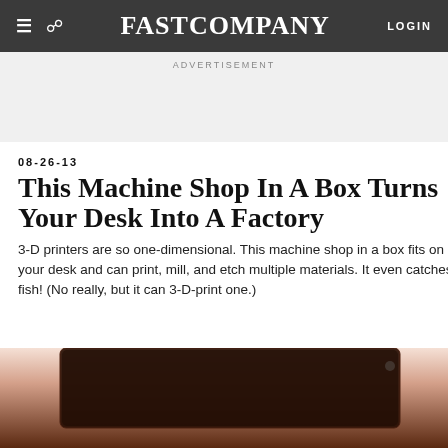FAST COMPANY | LOGIN
ADVERTISEMENT
08-26-13
This Machine Shop In A Box Turns Your Desk Into A Factory
3-D printers are so one-dimensional. This machine shop in a box fits on your desk and can print, mill, and etch multiple materials. It even catches fish! (No really, but it can 3-D-print one.)
[Figure (photo): Close-up photo of a dark brown/black machine surface, partially visible at bottom of page]